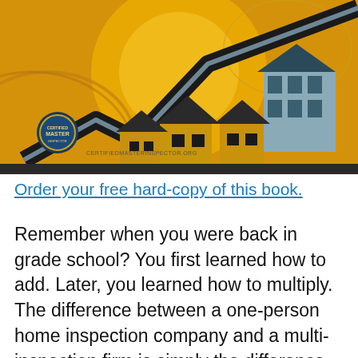[Figure (illustration): Illustrated book cover showing houses and buildings with a rising arrow/graph overlaid on a golden/yellow background. A circular logo badge is visible in the lower left with text 'MASTER'. Website URL 'CERTIFIEDMASTERINSPECTOR.ORG' shown at bottom left of illustration.]
Order your free hard-copy of this book.
Remember when you were back in grade school? You first learned how to add. Later, you learned how to multiply. The difference between a one-person home inspection company and a multi-inspection firm is simply the difference between addition and